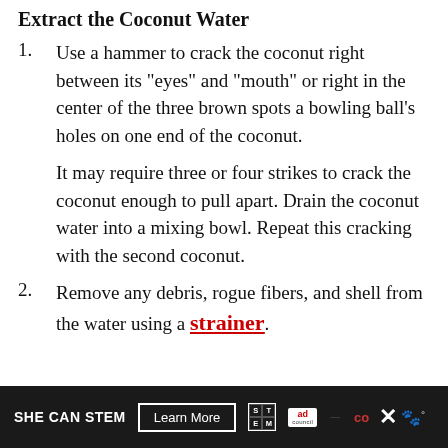Extract the Coconut Water
Use a hammer to crack the coconut right between its "eyes" and "mouth" or right in the center of the three brown spots a bowling ball's holes on one end of the coconut.
It may require three or four strikes to crack the coconut enough to pull apart. Drain the coconut water into a mixing bowl. Repeat this cracking with the second coconut.
Remove any debris, rogue fibers, and shell from the water using a strainer.
SHE CAN STEM  Learn More  [STEM logo] [Ad Council logo]